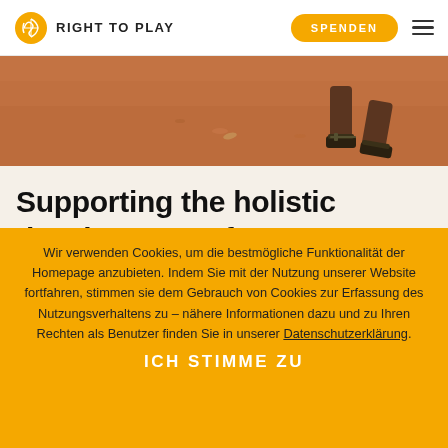RIGHT TO PLAY | SPENDEN
[Figure (photo): Close-up photo of children's feet running on a red dirt ground, wearing sandals]
Supporting the holistic development of very young children
Wir verwenden Cookies, um die bestmögliche Funktionalität der Homepage anzubieten. Indem Sie mit der Nutzung unserer Website fortfahren, stimmen sie dem Gebrauch von Cookies zur Erfassung des Nutzungsverhaltens zu – nähere Informationen dazu und zu Ihren Rechten als Benutzer finden Sie in unserer Datenschutzerklärung.
ICH STIMME ZU